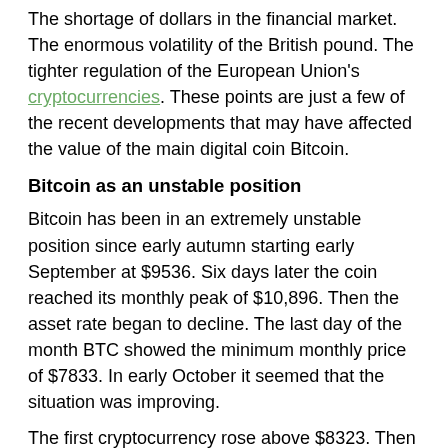The shortage of dollars in the financial market. The enormous volatility of the British pound. The tighter regulation of the European Union's cryptocurrencies. These points are just a few of the recent developments that may have affected the value of the main digital coin Bitcoin.
Bitcoin as an unstable position
Bitcoin has been in an extremely unstable position since early autumn starting early September at $9536. Six days later the coin reached its monthly peak of $10,896. Then the asset rate began to decline. The last day of the month BTC showed the minimum monthly price of $7833. In early October it seemed that the situation was improving.
The first cryptocurrency rose above $8323. Then it overcame the figure of $8557. However, the coin failed to hold this position for a long time. Economic and political world events may have caused sharp fluctuations in the exchange rate of the first cryptocurrency.